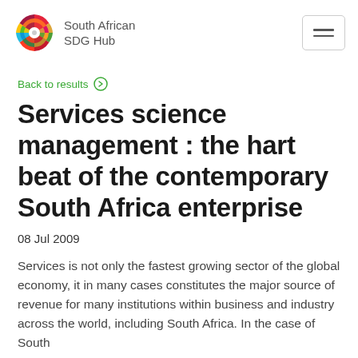South African SDG Hub
Back to results
Services science management : the hart beat of the contemporary South Africa enterprise
08 Jul 2009
Services is not only the fastest growing sector of the global economy, it in many cases constitutes the major source of revenue for many institutions within business and industry across the world, including South Africa. In the case of South